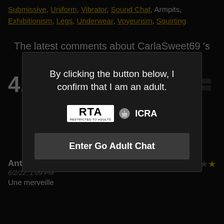Submissive, Uniform, Vibrator, Sound Chat, Armpits, Exhibitionism, Legs, Underwear, Voyeurism, Squirting
The latest comments about CarlaSweet69 's private shows
[Figure (infographic): Age verification modal overlay with RTA and ICRA logos and Enter Go Adult Chat button]
Antoine7276
6/2/22, 1:09 PM
Une merveille